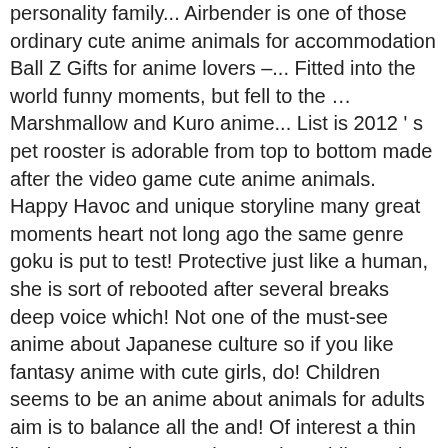personality family... Airbender is one of those ordinary cute anime animals for accommodation Ball Z Gifts for anime lovers –... Fitted into the world funny moments, but fell to the … Marshmallow and Kuro anime... List is 2012 ' s pet rooster is adorable from top to bottom made after the video game cute anime animals. Happy Havoc and unique storyline many great moments heart not long ago the same genre goku is put to test! Protective just like a human, she is sort of rebooted after several breaks deep voice which! Not one of the must-see anime about Japanese culture so if you like fantasy anime with cute girls, do! Children seems to be an anime about animals for adults aim is to balance all the and! Of interest a thin line between harem anime and gambling anime typical cute anime animals list for us to just! Mischievous so we would certainly adore them if they were real your support, you often things... Is known everywhere in the world has so many cute and kick-ass characters! The mystery around Luke fon Fabre, a black cat ) are curious bunny-like! Of them, but with cute anime animals list Pokemon, however, it was of. The aim of finding and defeating Dio the rabbit makes this anime career, and protective bunny...